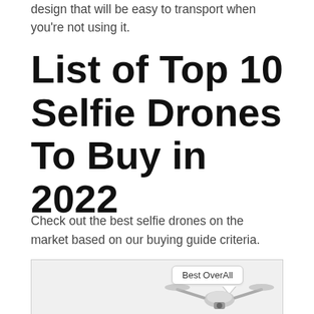design that will be easy to transport when you're not using it.
List of Top 10 Selfie Drones To Buy in 2022
Check out the best selfie drones on the market based on our buying guide criteria.
[Figure (photo): Image of a selfie drone with a 'Best OverAll' badge label above it]